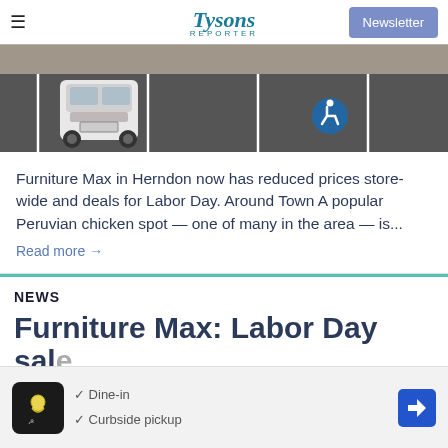Tysons Reporter | Newsletter
[Figure (photo): Parking lot with a white car and a handicap parking space marked with blue wheelchair symbol]
Furniture Max in Herndon now has reduced prices store-wide and deals for Labor Day. Around Town A popular Peruvian chicken spot — one of many in the area — is...
Read more →
NEWS
Furniture Max: Labor Day sale...